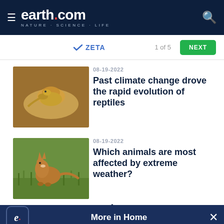earth.com — NATURE · SCIENCE · LIFE
[Figure (screenshot): ZETA advertisement bar showing logo, '1 of 5' counter, and green Next button]
[Figure (photo): Photo of a bearded dragon lizard on a rock]
08-19-2022
Past climate change drove the rapid evolution of reptiles
[Figure (photo): Photo of an arctic fox standing in grass]
08-19-2022
Which animals are most affected by extreme weather?
More in Home
[Figure (photo): Photo of a person sleeping or resting, partially visible]
Lack of sleep makes people more selfish and less